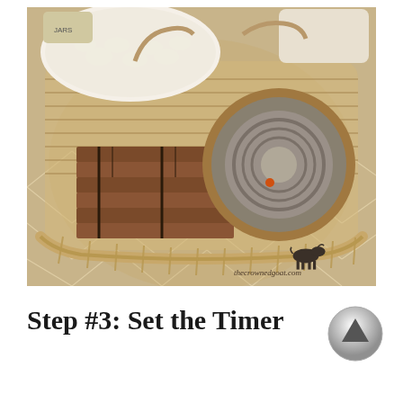[Figure (photo): Overhead view of a wicker basket containing vintage leather-bound books stacked flat, a smaller round wicker basket with a gray interior and orange dot, white thread spools on a white plate, and other cream-colored objects. The basket sits on a tan diamond-patterned textile. A dark goat silhouette logo and text 'thecrownedgoat.com' appear in the bottom right corner of the image.]
Step #3: Set the Timer